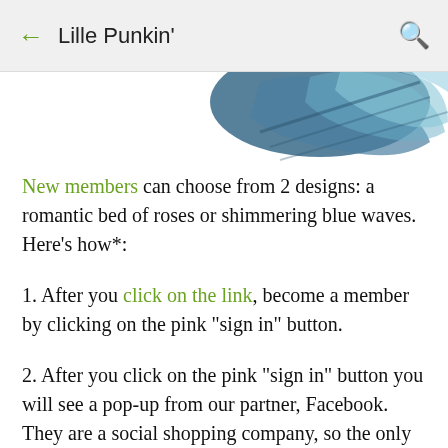← Lille Punkin' 🔍
[Figure (photo): Partial view of a fabric or item with blue wave pattern against white background, cropped at top of content area.]
New members can choose from 2 designs: a romantic bed of roses or shimmering blue waves. Here's how*:
1. After you click on the link, become a member by clicking on the pink "sign in" button.
2. After you click on the pink "sign in" button you will see a pop-up from our partner, Facebook. They are a social shopping company, so the only